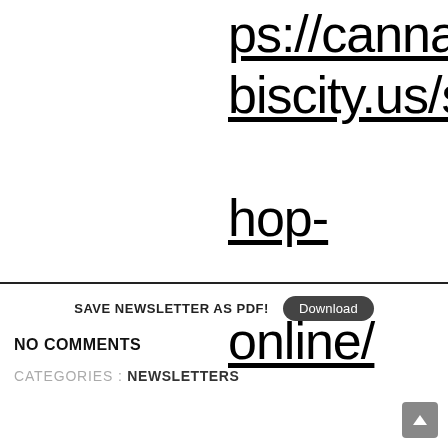ps://cannabiscity.us/shop-online/
SAVE NEWSLETTER AS PDF!
Download
NO COMMENTS
CATEGORIES : NEWSLETTERS